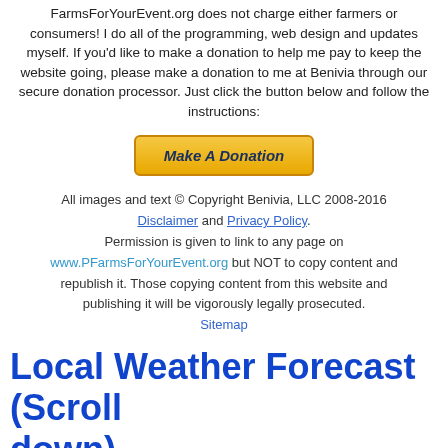FarmsForYourEvent.org does not charge either farmers or consumers!  I do all of the programming, web design and updates myself.  If you'd like to make a donation to help me pay to keep the website going, please make a donation to me at Benivia through our secure donation processor.  Just click the button below and follow the instructions:
[Figure (other): Make A Donation button - yellow/gold gradient button with bold italic dark blue text]
All images and text © Copyright Benivia, LLC 2008-2016
Disclaimer and Privacy Policy.
Permission is given to link to any page on
www.PFarmsForYourEvent.org but NOT to copy content and republish it. Those copying content from this website and publishing it will be vigorously legally prosecuted.
Sitemap
Local Weather Forecast (Scroll down)
Lids, Rings, Jars, mixes, pectin, etc.